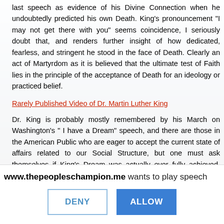last speech as evidence of his Divine Connection when he undoubtedly predicted his own Death. King's pronouncement "I may not get there with you" seems coincidence, I seriously doubt that, and renders further insight of how dedicated, fearless, and stringent he stood in the face of Death. Clearly an act of Martyrdom as it is believed that the ultimate test of Faith lies in the principle of the acceptance of Death for an ideology or practiced belief.
Rarely Published Video of Dr. Martin Luther King
Dr. King is probably mostly remembered by his March on Washington's " I have a Dream" speech, and there are those in the American Public who are eager to accept the current state of affairs related to our Social Structure, but one must ask themselves if King's Dream was actually ever fully achieved. Civil Rights Act(s) seem to be a band aid and only a symbol of that
www.thepeopleschampion.me wants to play speech